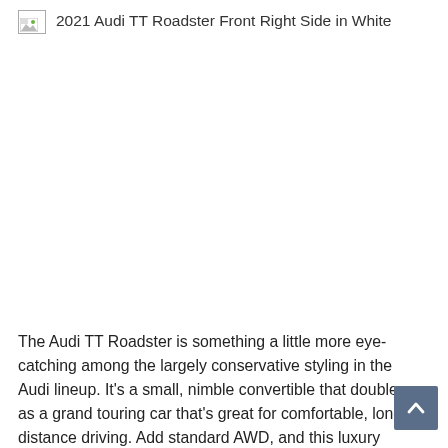[Figure (photo): Broken image placeholder with alt text: '2021 Audi TT Roadster Front Right Side in White']
The Audi TT Roadster is something a little more eye-catching among the largely conservative styling in the Audi lineup. It's a small, nimble convertible that doubles as a grand touring car that's great for comfortable, long-distance driving. Add standard AWD, and this luxury convertible is more versatile than it looks. Find an Audi TT for sale